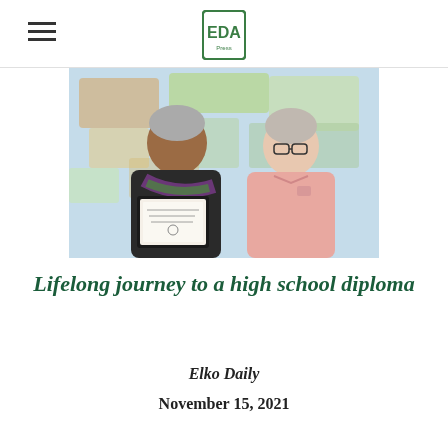Elko Daily Free Press - logo header with hamburger menu
[Figure (photo): Two older women posing together in front of a world map on the wall. The woman on the left is holding a framed diploma/certificate and wearing a dark jacket with a colorful scarf. The woman on the right is wearing a pink short-sleeve shirt and glasses.]
Lifelong journey to a high school diploma
Elko Daily
November 15, 2021